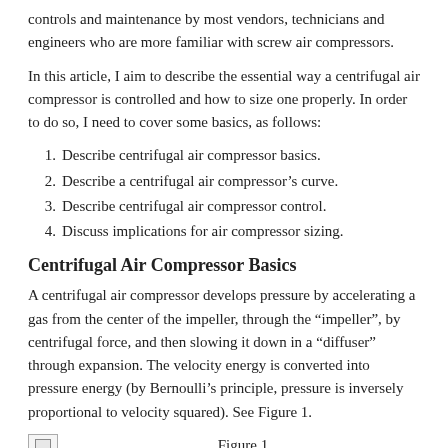controls and maintenance by most vendors, technicians and engineers who are more familiar with screw air compressors.
In this article, I aim to describe the essential way a centrifugal air compressor is controlled and how to size one properly. In order to do so, I need to cover some basics, as follows:
1. Describe centrifugal air compressor basics.
2. Describe a centrifugal air compressor’s curve.
3. Describe centrifugal air compressor control.
4. Discuss implications for air compressor sizing.
Centrifugal Air Compressor Basics
A centrifugal air compressor develops pressure by accelerating a gas from the center of the impeller, through the “impeller”, by centrifugal force, and then slowing it down in a “diffuser” through expansion. The velocity energy is converted into pressure energy (by Bernoulli’s principle, pressure is inversely proportional to velocity squared). See Figure 1.
Figure 1